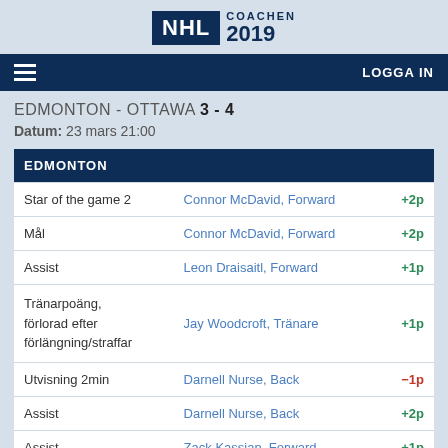NHL COACHEN 2019
EDMONTON - OTTAWA 3 - 4
Datum: 23 mars 21:00
|  | EDMONTON |  |
| --- | --- | --- |
| Star of the game 2 | Connor McDavid, Forward | +2p |
| Mål | Connor McDavid, Forward | +2p |
| Assist | Leon Draisaitl, Forward | +1p |
| Tränarpoäng, förlorad efter förlängning/straffar | Jay Woodcroft, Tränare | +1p |
| Utvisning 2min | Darnell Nurse, Back | -1p |
| Assist | Darnell Nurse, Back | +2p |
| Assist | Zack Kassian, Forward | +1p |